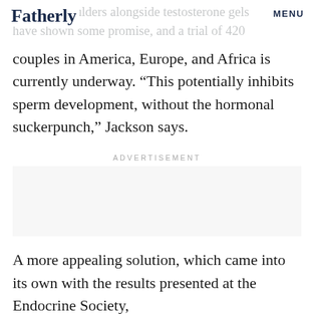Fatherly  MENU
and sets shoulders alongside testosterone gels have shown some promise, and a trial of 420
couples in America, Europe, and Africa is currently underway. “This potentially inhibits sperm development, without the hormonal suckerpunch,” Jackson says.
ADVERTISEMENT
A more appealing solution, which came into its own with the results presented at the Endocrine Society, is a...